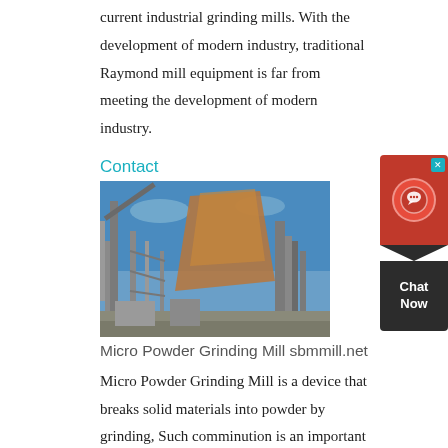current industrial grinding mills. With the development of modern industry, traditional Raymond mill equipment is far from meeting the development of modern industry.
Contact
[Figure (photo): Industrial grinding mill facility with large metal structures, conveyors, and equipment against a blue sky]
Micro Powder Grinding Mill sbmmill.net
Micro Powder Grinding Mill is a device that breaks solid materials into powder by grinding, Such comminution is an important unit operation in many processes. The finished powder can be used as high-performance auxiliary materials for aerospace high-tech materials and can be used to make